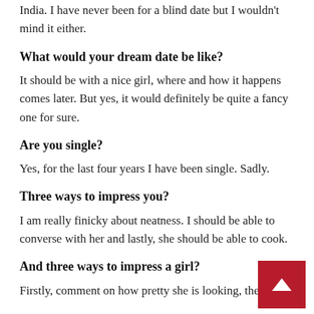India. I have never been for a blind date but I wouldn't mind it either.
What would your dream date be like?
It should be with a nice girl, where and how it happens comes later. But yes, it would definitely be quite a fancy one for sure.
Are you single?
Yes, for the last four years I have been single. Sadly.
Three ways to impress you?
I am really finicky about neatness. I should be able to converse with her and lastly, she should be able to cook.
And three ways to impress a girl?
Firstly, comment on how pretty she is looking, then